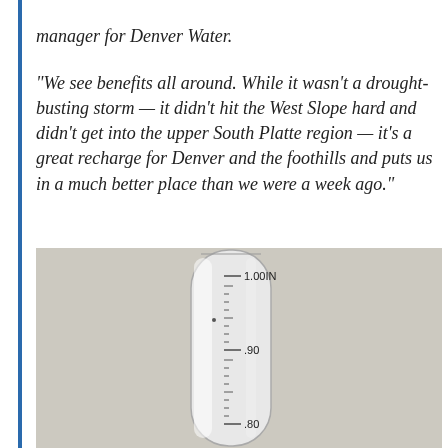manager for Denver Water.
“We see benefits all around. While it wasn’t a drought-busting storm — it didn’t hit the West Slope hard and didn’t get into the upper South Platte region — it’s a great recharge for Denver and the foothills and puts us in a much better place than we were a week ago.”
[Figure (photo): A rain gauge cylinder showing measurements. The gauge reads just above 1.00 inches at the top visible mark, with .90 and .80 marks visible below.]